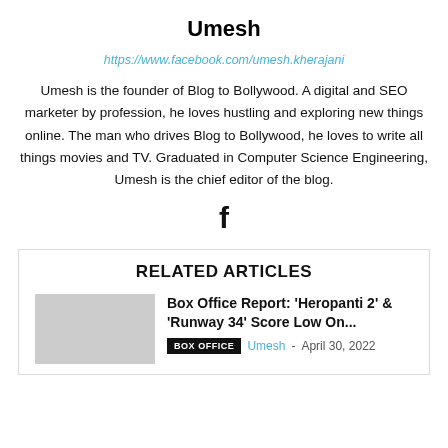Umesh
https://www.facebook.com/umesh.kherajani
Umesh is the founder of Blog to Bollywood. A digital and SEO marketer by profession, he loves hustling and exploring new things online. The man who drives Blog to Bollywood, he loves to write all things movies and TV. Graduated in Computer Science Engineering, Umesh is the chief editor of the blog.
[Figure (illustration): Facebook icon (letter f)]
RELATED ARTICLES
Box Office Report: ‘Heropanti 2’ & ‘Runway 34’ Score Low On...
BOX OFFICE  Umesh - April 30, 2022